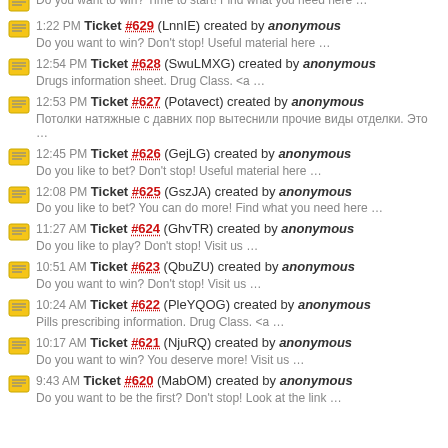Ticket #629 (LnnIE) created by anonymous — Do you want to win? Don't stop! Useful material here ...
12:54 PM Ticket #628 (SwuLMXG) created by anonymous — Drugs information sheet. Drug Class. <a ...
12:53 PM Ticket #627 (Potavect) created by anonymous — Потолки натяжные с давних пор вытеснили прочие виды отделки. Это ...
12:45 PM Ticket #626 (GejLG) created by anonymous — Do you like to bet? Don't stop! Useful material here ...
12:08 PM Ticket #625 (GszJA) created by anonymous — Do you like to bet? You can do more! Find what you need here ...
11:27 AM Ticket #624 (GhvTR) created by anonymous — Do you like to play? Don't stop! Visit us ...
10:51 AM Ticket #623 (QbuZU) created by anonymous — Do you want to win? Don't stop! Visit us ...
10:24 AM Ticket #622 (PleYQOG) created by anonymous — Pills prescribing information. Drug Class. <a ...
10:17 AM Ticket #621 (NjuRQ) created by anonymous — Do you want to win? You deserve more! Visit us ...
9:43 AM Ticket #620 (MabOM) created by anonymous — Do you want to be the first? Don't stop! Look at the link ...